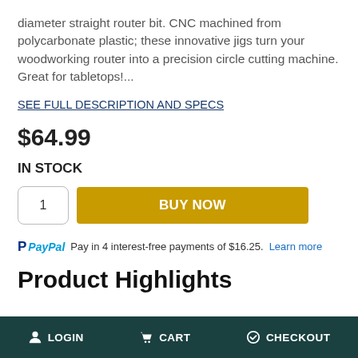diameter straight router bit. CNC machined from polycarbonate plastic; these innovative jigs turn your woodworking router into a precision circle cutting machine. Great for tabletops!...
SEE FULL DESCRIPTION AND SPECS
$64.99
IN STOCK
1  BUY NOW
PayPal  Pay in 4 interest-free payments of $16.25.  Learn more
Product Highlights
LOGIN   CART   CHECKOUT